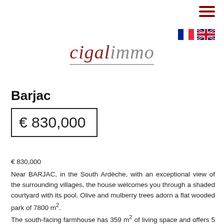[Figure (logo): Cigali Immo company logo with red italic serif 'cigal' and grey italic 'immo', underlined]
Barjac
€ 830,000
€ 830,000
Near BARJAC, in the South Ardèche, with an exceptional view of the surrounding villages, the house welcomes you through a shaded courtyard with its pool. Olive and mulberry trees adorn a flat wooded park of 7800 m².
The south-facing farmhouse has 359 m² of living space and offers 5 en suite guest rooms, which could be adapted as